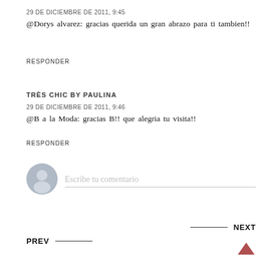29 DE DICIEMBRE DE 2011, 9:45
@Dorys alvarez: gracias querida un gran abrazo para ti tambien!!
RESPONDER
TRÈS CHIC BY PAULINA
29 DE DICIEMBRE DE 2011, 9:46
@B a la Moda: gracias B!! que alegria tu visita!!
RESPONDER
Escribe tu comentario
PREV
NEXT